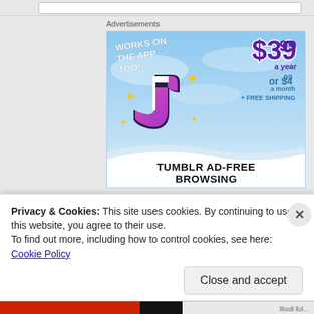Advertisements
[Figure (illustration): Tumblr Ad-Free Browsing advertisement banner showing Tumblr logo, pricing $39.99 a year or $4.99 a month + FREE SHIPPING, with text WORKS ON THE APP TOO!]
Privacy & Cookies: This site uses cookies. By continuing to use this website, you agree to their use.
To find out more, including how to control cookies, see here: Cookie Policy
Close and accept